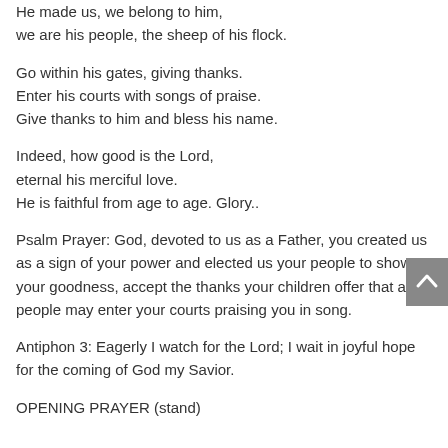He made us, we belong to him,
we are his people, the sheep of his flock.
Go within his gates, giving thanks.
Enter his courts with songs of praise.
Give thanks to him and bless his name.
Indeed, how good is the Lord,
eternal his merciful love.
He is faithful from age to age. Glory..
Psalm Prayer: God, devoted to us as a Father, you created us as a sign of your power and elected us your people to show your goodness, accept the thanks your children offer that all people may enter your courts praising you in song.
Antiphon 3: Eagerly I watch for the Lord; I wait in joyful hope for the coming of God my Savior.
OPENING PRAYER (stand)